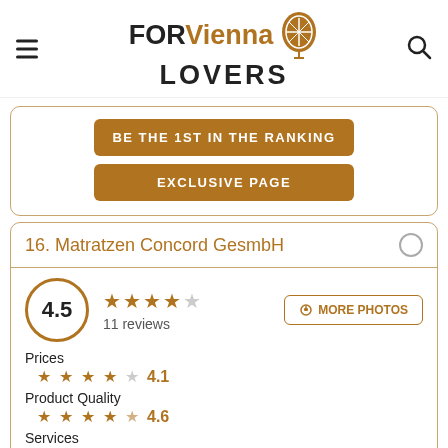FOR Vienna LOVERS
BE THE 1ST IN THE RANKING
EXCLUSIVE PAGE
16. Matratzen Concord GesmbH
4.5 — 11 reviews — MORE PHOTOS
Prices
4.1
Product Quality
4.6
Services